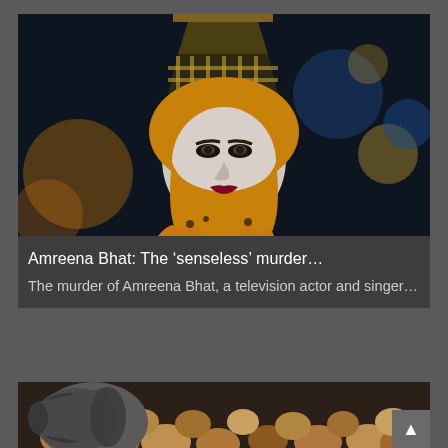[Figure (photo): Woman wearing an orange/gold hijab and patterned abaya, photographed against a dark background with bokeh lights. She appears to be Amreena Bhat, a television actor and singer.]
Amreena Bhat: The ‘senseless’ murder…
The murder of Amreena Bhat, a television actor and singer…
[Figure (photo): Crowd of people, possibly at a protest or gathering, with a large loud speaker or megaphone visible in the foreground.]